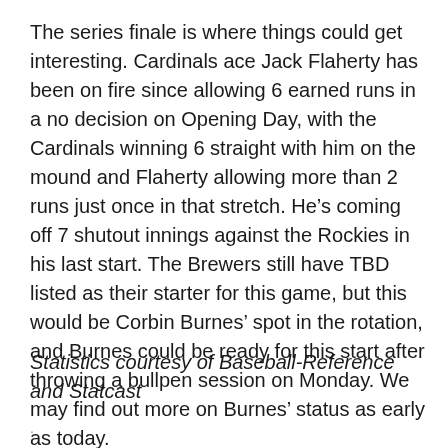The series finale is where things could get interesting. Cardinals ace Jack Flaherty has been on fire since allowing 6 earned runs in a no decision on Opening Day, with the Cardinals winning 6 straight with him on the mound and Flaherty allowing more than 2 runs just once in that stretch. He’s coming off 7 shutout innings against the Rockies in his last start. The Brewers still have TBD listed as their starter for this game, but this would be Corbin Burnes’ spot in the rotation, and Burnes could be ready for this start after throwing a bullpen session on Monday. We may find out more on Burnes’ status as early as today.
Statistics courtesy of Baseball-Reference and Statcast